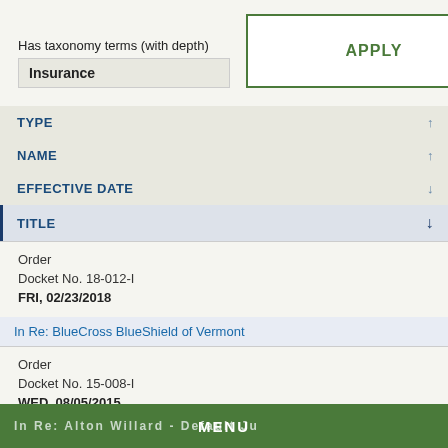Has taxonomy terms (with depth)
Insurance
APPLY
| TYPE |  |
| --- | --- |
| TYPE | ↑ |
| NAME | ↑ |
| EFFECTIVE DATE | ↓ |
| TITLE | ↓ |
Order
Docket No. 18-012-I
FRI, 02/23/2018
In Re: BlueCross BlueShield of Vermont
Order
Docket No. 15-008-I
WED, 08/05/2015
In Re: Alton Willard - Default Judgment and Order
MENU